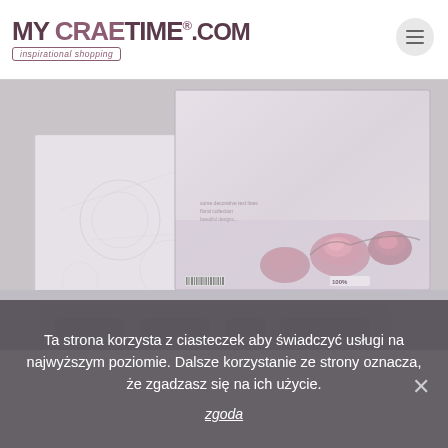MyCRAFTIME.COM — inspirational shopping
[Figure (photo): Two decorative scrapbooking paper sheets with soft pink floral and textured patterns in lavender/grey tones, displayed overlapping on a grey background.]
Ta strona korzysta z ciasteczek aby świadczyć usługi na najwyższym poziomie. Dalsze korzystanie ze strony oznacza, że zgadzasz się na ich użycie.
zgoda